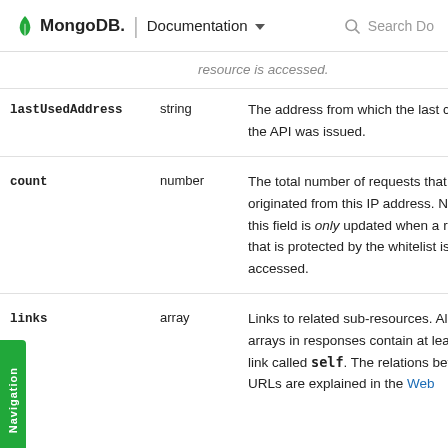MongoDB. | Documentation  Search Do
resource is accessed.
| Field | Type | Description |
| --- | --- | --- |
| lastUsedAddress | string | The address from which the last call to the API was issued. |
| count | number | The total number of requests that originated from this IP address. Note that this field is only updated when a resource that is protected by the whitelist is accessed. |
| links | array | Links to related sub-resources. All links arrays in responses contain at least one link called self. The relations between URLs are explained in the Web |